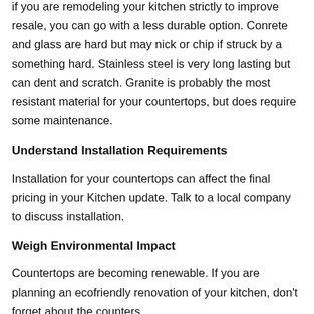if you are remodeling your kitchen strictly to improve resale, you can go with a less durable option. Conrete and glass are hard but may nick or chip if struck by a something hard. Stainless steel is very long lasting but can dent and scratch. Granite is probably the most resistant material for your countertops, but does require some maintenance.
Understand Installation Requirements
Installation for your countertops can affect the final pricing in your Kitchen update. Talk to a local company to discuss installation.
Weigh Environmental Impact
Countertops are becoming renewable. If you are planning an ecofriendly renovation of your kitchen, don't forget about the counters...